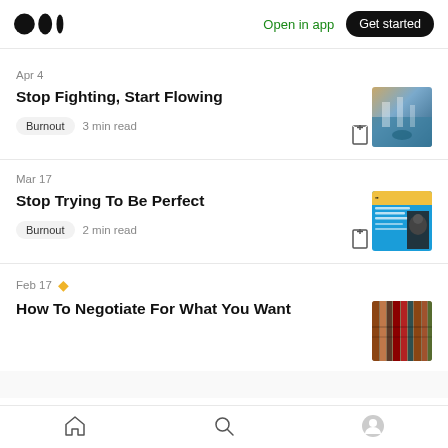Medium logo | Open in app | Get started
Apr 4
Stop Fighting, Start Flowing
Burnout  3 min read
[Figure (photo): Waterfall scene with people, sunset tones]
Mar 17
Stop Trying To Be Perfect
Burnout  2 min read
[Figure (photo): Blue background with quote text and a man in black suit]
Feb 17 ♦
How To Negotiate For What You Want
[Figure (photo): Row of colorful book spines on a shelf]
Home | Search | Profile